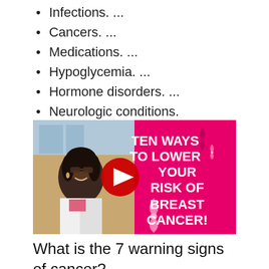Infections. ...
Cancers. ...
Medications. ...
Hypoglycemia. ...
Hormone disorders. ...
Neurologic conditions.
[Figure (screenshot): YouTube video thumbnail showing a woman in a white coat on the left half, and a pink background on the right with white bold text reading 'TEN WAYS TO LOWER YOUR RISK OF BREAST CANCER!' with pink ribbon graphics. A red YouTube play button is centered on the image.]
What is the 7 warning signs of cancer?